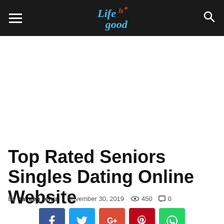Life is good — navigation bar with hamburger menu, logo, and search icon
[Figure (other): White advertisement space below header]
Top Rated Seniors Singles Dating Online Website
By naveen zehra - November 30, 2019  450  0
[Figure (other): Social share buttons: Facebook, Twitter, Google+, Pinterest, WhatsApp]